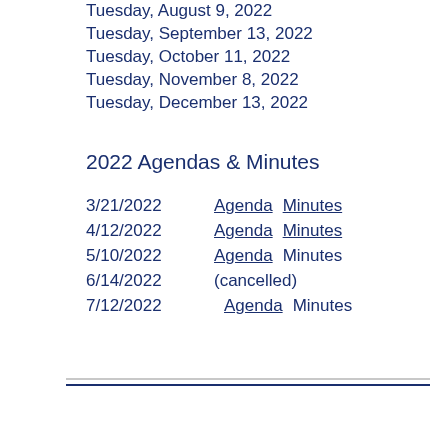Tuesday, August 9, 2022
Tuesday, September 13, 2022
Tuesday, October 11, 2022
Tuesday, November 8, 2022
Tuesday, December 13, 2022
2022 Agendas & Minutes
3/21/2022    Agenda    Minutes
4/12/2022    Agenda    Minutes
5/10/2022    Agenda    Minutes
6/14/2022    (cancelled)
7/12/2022    Agenda    Minutes